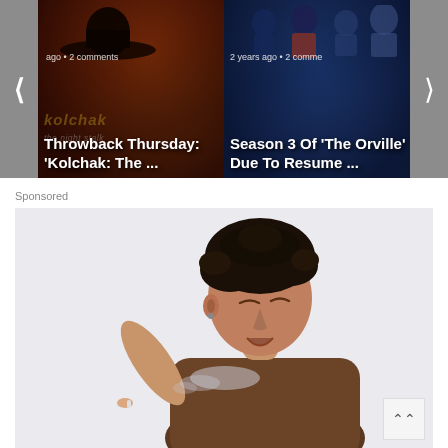[Figure (screenshot): Carousel of two article cards. Left card: 'Throwback Thursday: Kolchak: The ...' with dark theatrical background. Right card: 'Season 3 Of The Orville Due To Resume ...' with sci-fi group photo background. Navigation arrows on sides. Timestamps shown: left card 'ago • 2 comments', right card '2 years ago • 2 comme'.]
Sponsored
[Figure (photo): Sponsored advertisement showing a young man with curly dark hair in a brown t-shirt, appearing to be sneezing or coughing, holding something small in his left hand, against a light gray background.]